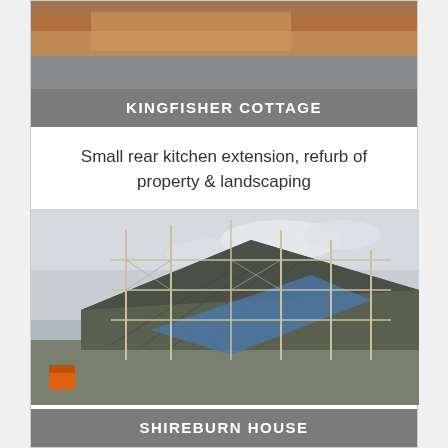[Figure (photo): Partial view of Kingfisher Cottage building with red/brown structure visible]
KINGFISHER COTTAGE
Small rear kitchen extension, refurb of property & landscaping
Explore Project
[Figure (photo): Construction site showing Shireburn House with scaffolding and partially built roof under cloudy sky]
SHIREBURN HOUSE